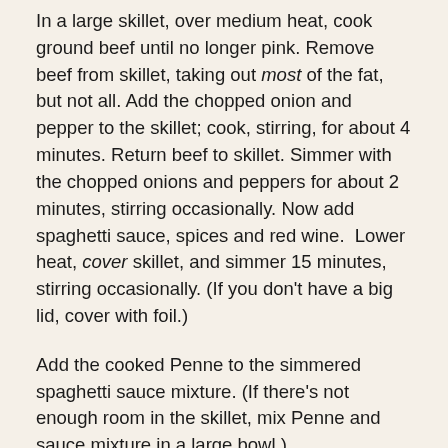In a large skillet, over medium heat, cook ground beef until no longer pink. Remove beef from skillet, taking out most of the fat, but not all. Add the chopped onion and pepper to the skillet; cook, stirring, for about 4 minutes. Return beef to skillet. Simmer with the chopped onions and peppers for about 2 minutes, stirring occasionally. Now add spaghetti sauce, spices and red wine.  Lower heat, cover skillet, and simmer 15 minutes, stirring occasionally. (If you don't have a big lid, cover with foil.)
Add the cooked Penne to the simmered spaghetti sauce mixture. (If there's not enough room in the skillet, mix Penne and sauce mixture in a large bowl.)